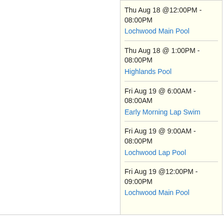Thu Aug 18 @12:00PM - 08:00PM
Lochwood Main Pool
Thu Aug 18 @ 1:00PM - 08:00PM
Highlands Pool
Fri Aug 19 @ 6:00AM - 08:00AM
Early Morning Lap Swim
Fri Aug 19 @ 9:00AM - 08:00PM
Lochwood Lap Pool
Fri Aug 19 @12:00PM - 09:00PM
Lochwood Main Pool